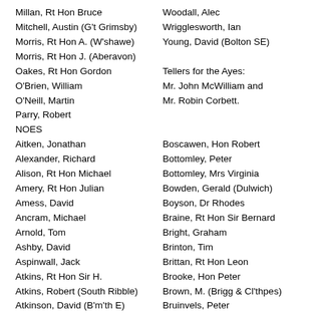Millan, Rt Hon Bruce
Woodall, Alec
Mitchell, Austin (G't Grimsby)
Wrigglesworth, Ian
Morris, Rt Hon A. (W'shawe)
Young, David (Bolton SE)
Morris, Rt Hon J. (Aberavon)
Oakes, Rt Hon Gordon
Tellers for the Ayes:
O'Brien, William
Mr. John McWilliam and
O'Neill, Martin
Mr. Robin Corbett.
Parry, Robert
NOES
Aitken, Jonathan
Boscawen, Hon Robert
Alexander, Richard
Bottomley, Peter
Alison, Rt Hon Michael
Bottomley, Mrs Virginia
Amery, Rt Hon Julian
Bowden, Gerald (Dulwich)
Amess, David
Boyson, Dr Rhodes
Ancram, Michael
Braine, Rt Hon Sir Bernard
Arnold, Tom
Bright, Graham
Ashby, David
Brinton, Tim
Aspinwall, Jack
Brittan, Rt Hon Leon
Atkins, Rt Hon Sir H.
Brooke, Hon Peter
Atkins, Robert (South Ribble)
Brown, M. (Brigg & Cl'thpes)
Atkinson, David (B'm'th E)
Bruinvels, Peter
Baker, Rt Hon K. (Mole Vall'y)
Bryan, Sir Paul
Baker, Nicholas (N Dorset)
Buck, Sir Antony